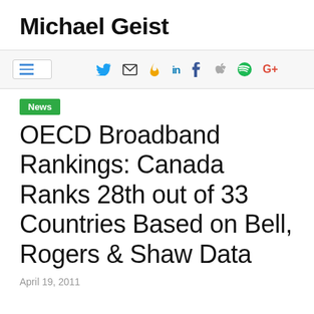Michael Geist
[Figure (other): Navigation bar with hamburger menu icon and social media icons: Twitter, Email, Fire/Medium, LinkedIn, Facebook, Apple, Spotify, Google+]
News
OECD Broadband Rankings: Canada Ranks 28th out of 33 Countries Based on Bell, Rogers & Shaw Data
April 19, 2011